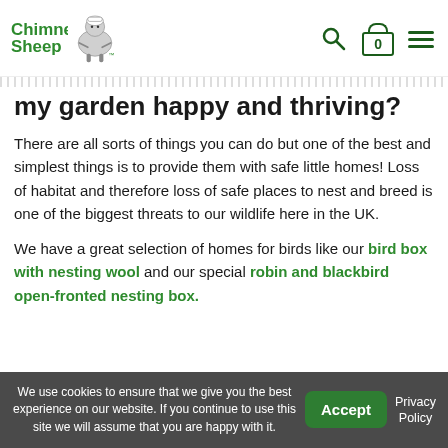Chimney Sheep logo and navigation
my garden happy and thriving?
There are all sorts of things you can do but one of the best and simplest things is to provide them with safe little homes! Loss of habitat and therefore loss of safe places to nest and breed is one of the biggest threats to our wildlife here in the UK.
We have a great selection of homes for birds like our bird box with nesting wool and our special robin and blackbird open-fronted nesting box.
We use cookies to ensure that we give you the best experience on our website. If you continue to use this site we will assume that you are happy with it.  Accept  Privacy Policy